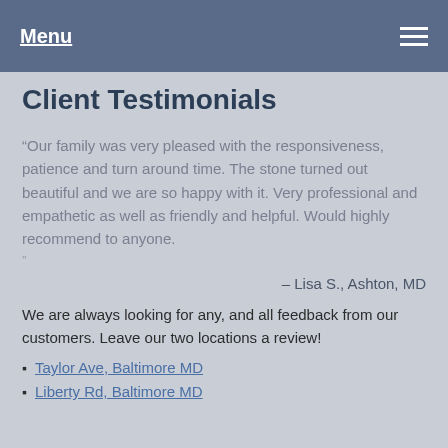Menu
Client Testimonials
“Our family was very pleased with the responsiveness, patience and turn around time. The stone turned out beautiful and we are so happy with it. Very professional and empathetic as well as friendly and helpful. Would highly recommend to anyone.
– Lisa S., Ashton, MD
We are always looking for any, and all feedback from our customers. Leave our two locations a review!
Taylor Ave, Baltimore MD
Liberty Rd, Baltimore MD